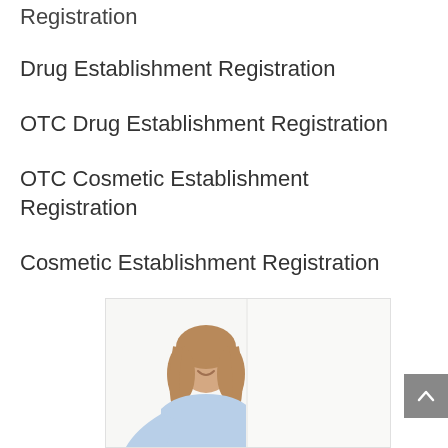Registration
Drug Establishment Registration
OTC Drug Establishment Registration
OTC Cosmetic Establishment Registration
Cosmetic Establishment Registration
[Figure (photo): Woman with long blonde hair in a light blue shirt smiling, seated next to a laptop, on a white background]